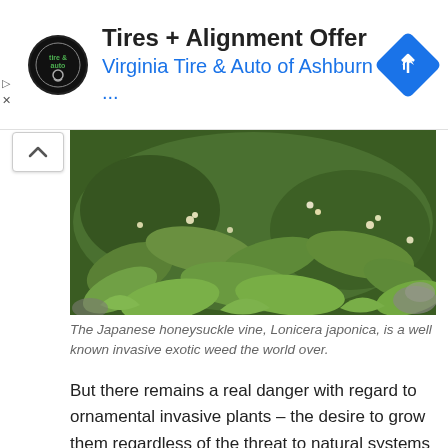[Figure (screenshot): Ad banner for Virginia Tire & Auto of Ashburn showing tire/auto logo, title 'Tires + Alignment Offer', subtitle 'Virginia Tire & Auto of Ashburn ...', and blue navigation diamond icon]
[Figure (photo): Photo of Japanese honeysuckle vine (Lonicera japonica) showing dense green leaves with small white/yellow flowers]
The Japanese honeysuckle vine, Lonicera japonica, is a well known invasive exotic weed the world over.
But there remains a real danger with regard to ornamental invasive plants – the desire to grow them regardless of the threat to natural systems and the species that these support. The truth is that many ornamental plants have been in cultivation for just a relatively short time, so well meaning gardeners could have ticking time-bombs in their midst and not even